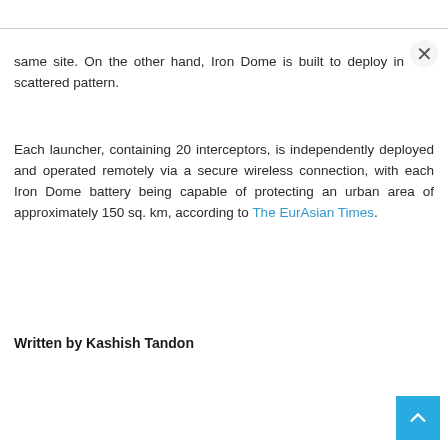same site. On the other hand, Iron Dome is built to deploy in scattered pattern.
Each launcher, containing 20 interceptors, is independently deployed and operated remotely via a secure wireless connection, with each Iron Dome battery being capable of protecting an urban area of approximately 150 sq. km, according to The EurAsian Times.
Written by Kashish Tandon